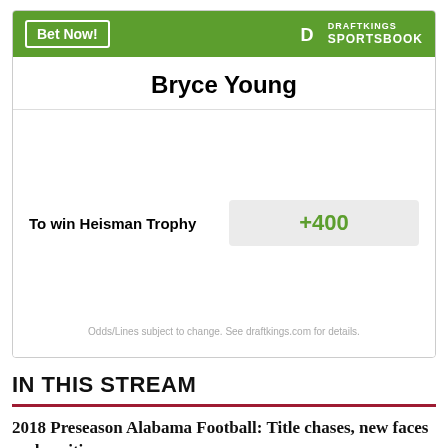[Figure (other): DraftKings Sportsbook widget for Bryce Young showing Heisman Trophy odds of +400 with Bet Now button and DraftKings logo]
IN THIS STREAM
2018 Preseason Alabama Football: Title chases, new faces and position races
2018 Alabama Football Unit Previews: Offensive Line